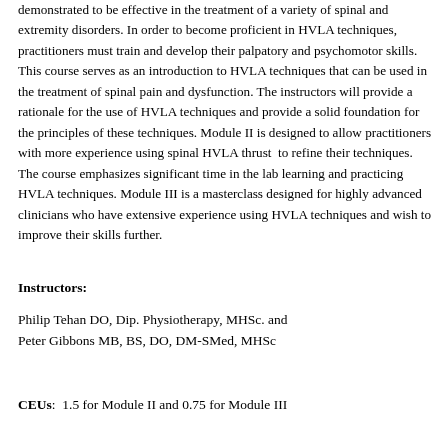demonstrated to be effective in the treatment of a variety of spinal and extremity disorders. In order to become proficient in HVLA techniques, practitioners must train and develop their palpatory and psychomotor skills. This course serves as an introduction to HVLA techniques that can be used in the treatment of spinal pain and dysfunction. The instructors will provide a rationale for the use of HVLA techniques and provide a solid foundation for the principles of these techniques. Module II is designed to allow practitioners with more experience using spinal HVLA thrust  to refine their techniques. The course emphasizes significant time in the lab learning and practicing HVLA techniques. Module III is a masterclass designed for highly advanced clinicians who have extensive experience using HVLA techniques and wish to improve their skills further.
Instructors: Philip Tehan DO, Dip. Physiotherapy, MHSc. and Peter Gibbons MB, BS, DO, DM-SMed, MHSc
CEUs:  1.5 for Module II and 0.75 for Module III